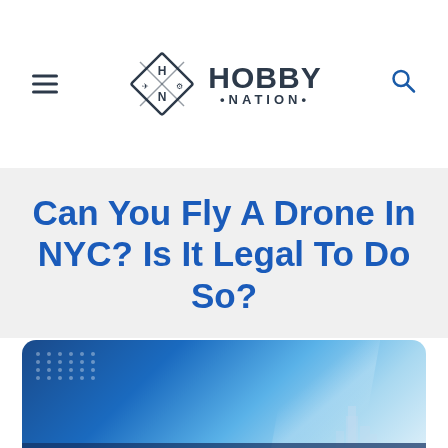Hobby Nation
Can You Fly A Drone In NYC? Is It Legal To Do So?
[Figure (photo): Article hero image showing NYC skyline with blue sky, with caption text 'Can You Fly' visible at the bottom left]